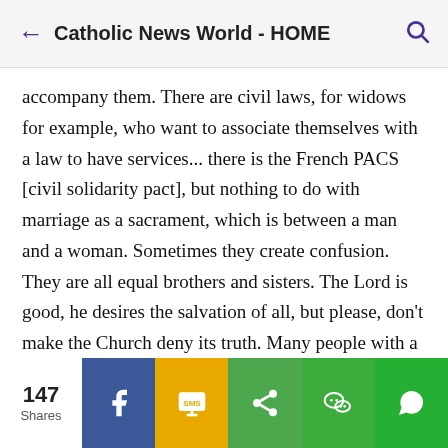Catholic News World - HOME
accompany them. There are civil laws, for widows for example, who want to associate themselves with a law to have services... there is the French PACS [civil solidarity pact], but nothing to do with marriage as a sacrament, which is between a man and a woman. Sometimes they create confusion. They are all equal brothers and sisters. The Lord is good, he desires the salvation of all, but please, don't make the Church deny its truth. Many people with a homosexual orientation approach penance, they seek counsel from the priest, the Church helps them, but the sacrament of marriage is something else.
147 Shares